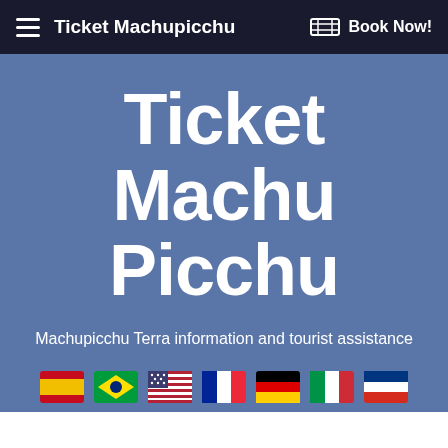Ticket Machupicchu   Book Now!
Ticket Machu Picchu
Machupicchu Terra information and tourist assistance
[Figure (illustration): Row of seven country flag icons: Spain, Brazil, USA, France, Germany, Italy, Russia]
Entrance tickets to Machu Picchu book now!